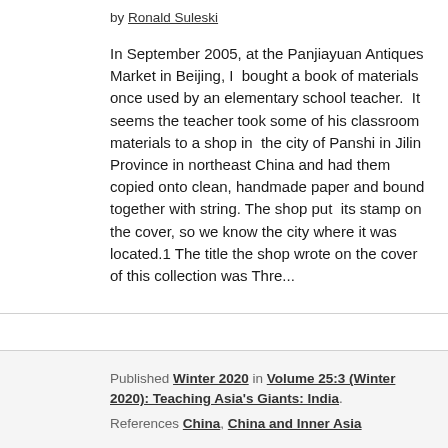by Ronald Suleski
In September 2005, at the Panjiayuan Antiques Market in Beijing, I bought a book of materials once used by an elementary school teacher. It seems the teacher took some of his classroom materials to a shop in the city of Panshi in Jilin Province in northeast China and had them copied onto clean, handmade paper and bound together with string. The shop put its stamp on the cover, so we know the city where it was located.1 The title the shop wrote on the cover of this collection was Thre...
Published Winter 2020 in Volume 25:3 (Winter 2020): Teaching Asia's Giants: India.
References China, China and Inner Asia